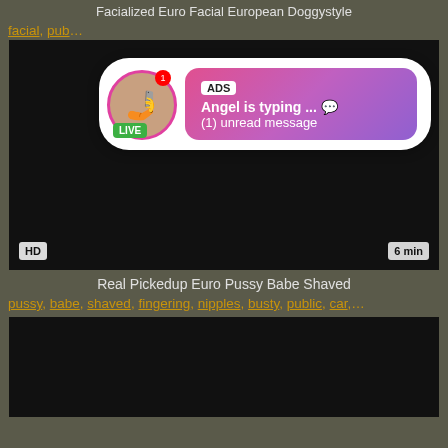Facialized Euro Facial European Doggystyle
facial ... pub ...
[Figure (screenshot): Video thumbnail black screen with HD badge and 6 min duration, with an ADS popup overlay showing 'Angel is typing ... (1) unread message' with a live avatar]
Real Pickedup Euro Pussy Babe Shaved
pussy, babe, shaved, fingering, nipples, busty, public, car,...
[Figure (screenshot): Second video thumbnail black screen]